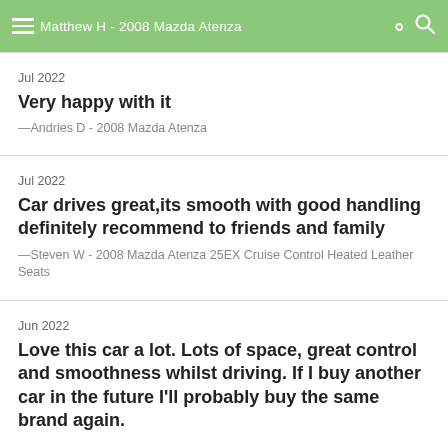Matthew H - 2008 Mazda Atenza
Jul 2022
Very happy with it
— Andries D - 2008 Mazda Atenza
Jul 2022
Car drives great,its smooth with good handling definitely recommend to friends and family
— Steven W - 2008 Mazda Atenza 25EX Cruise Control Heated Leather Seats
Jun 2022
Love this car a lot. Lots of space, great control and smoothness whilst driving. If I buy another car in the future I'll probably buy the same brand again.